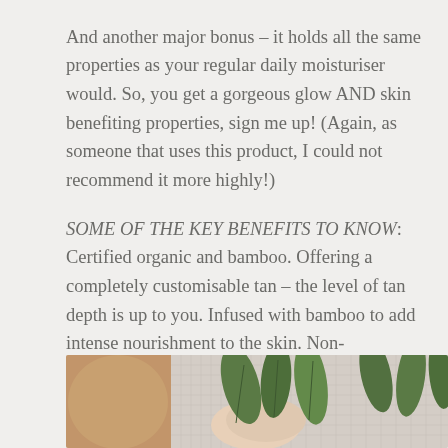And another major bonus – it holds all the same properties as your regular daily moisturiser would. So, you get a gorgeous glow AND skin benefiting properties, sign me up! (Again, as someone that uses this product, I could not recommend it more highly!)
SOME OF THE KEY BENEFITS TO KNOW: Certified organic and bamboo. Offering a completely customisable tan – the level of tan depth is up to you. Infused with bamboo to add intense nourishment to the skin. Non-transferable and non-comedogenic. Providing the same benefits as a daily moisturiser.
[Figure (photo): Photo showing a tanned arm on left side, hands holding green leaves/plant in center and right, on a light grey/white background]